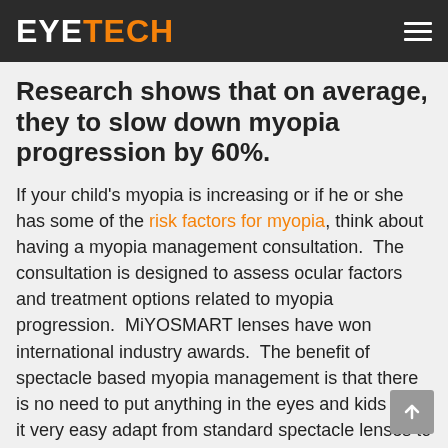EYETECH
Research shows that on average, they to slow down myopia progression by 60%.
If your child's myopia is increasing or if he or she has some of the risk factors for myopia, think about having a myopia management consultation.  The consultation is designed to assess ocular factors and treatment options related to myopia progression.  MiYOSMART lenses have won international industry awards.  The benefit of spectacle based myopia management is that there is no need to put anything in the eyes and kids find it very easy adapt from standard spectacle lenses to MiYOSMART.